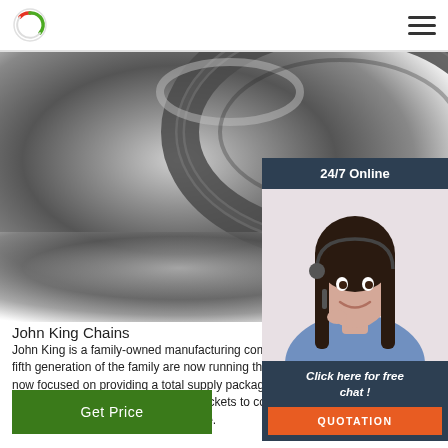[Figure (logo): Circular logo with red and green arc, company logo top left]
[Figure (photo): Close-up photo of a metal chain/sprocket link in grey tones]
[Figure (photo): 24/7 Online chat sidebar with female customer service agent wearing headset, dark blue background panel with 'Click here for free chat!' text and orange QUOTATION button]
John King Chains
John King is a family-owned manufacturing company founded in 1926. The fifth generation of the family are now running the business. The business is now focused on providing a total supply package to the materials handling industry. Comprising chains and sprockets to conveyor systems and their eventual installation and maintenance.
[Figure (other): Green 'Get Price' button]
[Figure (other): Grey circular back-to-top arrow button]